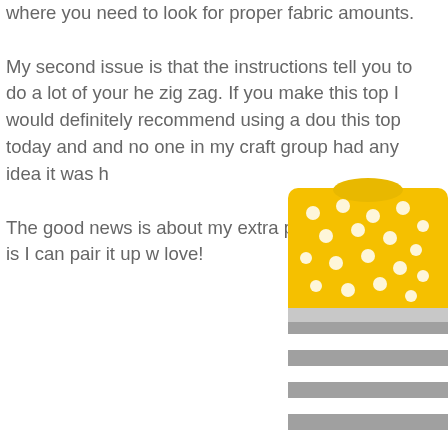where you need to look for proper fabric amounts.

My second issue is that the instructions tell you to do a lot of your he zig zag. If you make this top I would definitely recommend using a dou this top today and and no one in my craft group had any idea it was h

The good news is about my extra polka dot fabric is I can pair it up w love!
[Figure (photo): A child's garment / top with yellow polka dot fabric on the upper portion and grey/white horizontal striped fabric on the lower sleeves, partially cropped on the right side of the page.]